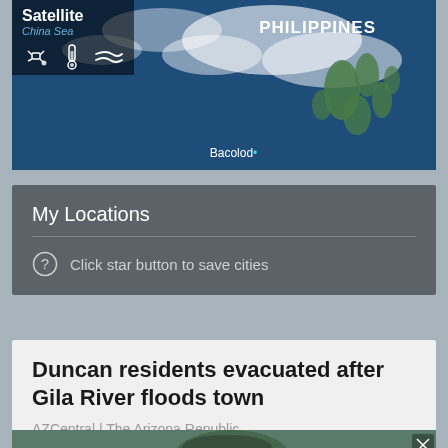[Figure (map): Satellite map showing the Philippines region with South China Sea label, satellite/weather/wind toggle icons, and Bacolod city marker]
My Locations
Click star button to save cities
Duncan residents evacuated after Gila River floods town
AZCentral | The Arizona Republic
[Figure (photo): Partially visible photo at bottom of page showing a person outdoors with greenery/hills in background]